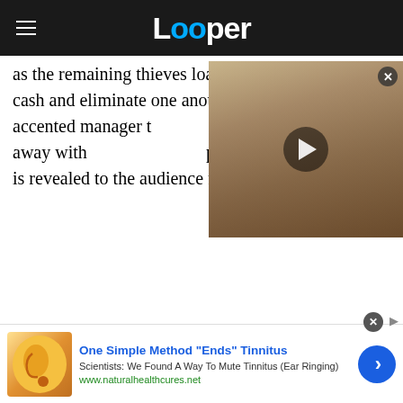Looper
as the remaining thieves load up the bank's stolen cash and eliminate one another, the heavily accented manager tells the Joker that he won't get away with this. The Joker, played by Heath Ledger, is revealed to the audience for the first time.
[Figure (photo): Video thumbnail showing a middle-aged man in a suit with a play button overlay]
While playing opposite the Joker's first appearance would be enough to make Fichtner's role in The Dark Knight memorable, audiences were so intrigued
[Figure (advertisement): Ad for tinnitus treatment: One Simple Method Ends Tinnitus - Scientists: We Found A Way To Mute Tinnitus (Ear Ringing). www.naturalhealthcures.net]